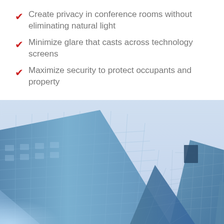Create privacy in conference rooms without eliminating natural light
Minimize glare that casts across technology screens
Maximize security to protect occupants and property
[Figure (photo): Upward-angle photograph of modern glass skyscrapers against a light blue sky, featuring blue reflective glass facades with grid window patterns]